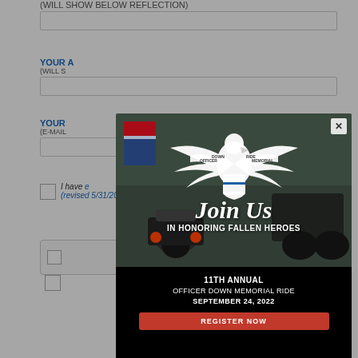(WILL SHOW BELOW REFLECTION)
YOUR A
(WILL S
YOUR
(E-MAIL
I have ... (revised 5/31/2012)
[Figure (screenshot): A modal popup for the Officer Down Memorial Ride. Contains a logo of an eagle with wings spread holding a shield with 'Officer Down Memorial Ride' text on banners. Photo background shows motorcycles. Text reads: Join Us IN HONORING FALLEN HEROES 11TH ANNUAL OFFICER DOWN MEMORIAL RIDE SEPTEMBER 24, 2022. Red REGISTER NOW button. Close X button in top right corner.]